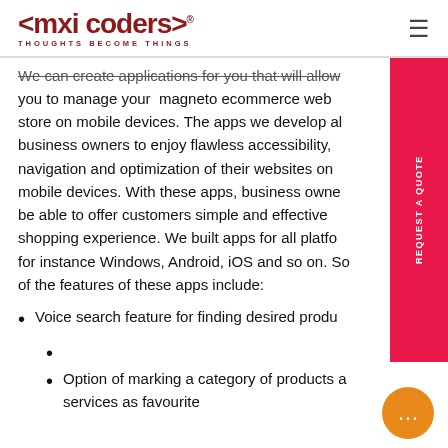<mxi coders>® THOUGHTS BECOME THINGS
We can create applications for you that will allow you to manage your magneto ecommerce web store on mobile devices. The apps we develop allow business owners to enjoy flawless accessibility, navigation and optimization of their websites on mobile devices. With these apps, business owners will be able to offer customers simple and effective shopping experience. We built apps for all platforms for instance Windows, Android, iOS and so on. Some of the features of these apps include:
Voice search feature for finding desired products
Option of marking a category of products and services as favourite